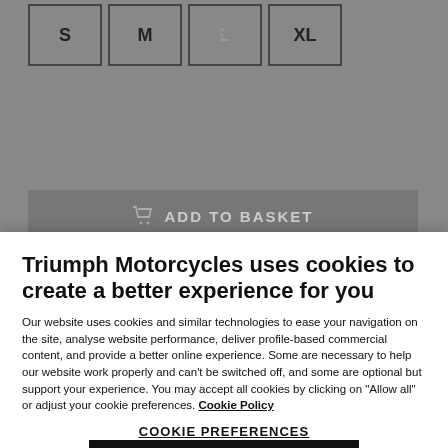[Figure (screenshot): Size selector buttons showing S, M, L (crossed out/unavailable), XL options for a product on an e-commerce site. Below is a partially visible 'Add to Basket' button bar.]
Triumph Motorcycles uses cookies to create a better experience for you
Our website uses cookies and similar technologies to ease your navigation on the site, analyse website performance, deliver profile-based commercial content, and provide a better online experience. Some are necessary to help our website work properly and can't be switched off, and some are optional but support your experience. You may accept all cookies by clicking on "Allow all" or adjust your cookie preferences. Cookie Policy
COOKIE PREFERENCES
ALLOW ALL